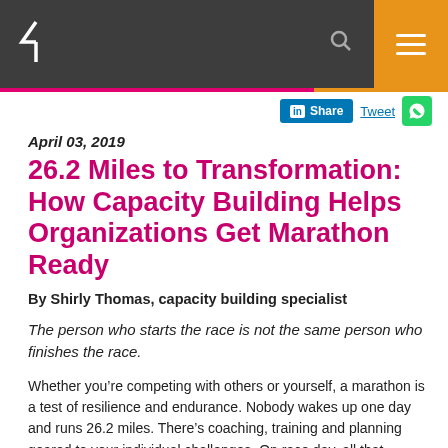United Methodist Church navigation header with logo, search icon, and menu button
April 03, 2019
26.2 Miles to Transformation: How Capacity Building Helps Organizations Get Marathon Ready
By Shirly Thomas, capacity building specialist
The person who starts the race is not the same person who finishes the race.
Whether you’re competing with others or yourself, a marathon is a test of resilience and endurance. Nobody wakes up one day and runs 26.2 miles. There’s coaching, training and planning geared to your individual challenges. On race day, all that preparation and strategy, investment of time and energy and the skills acquired along the way